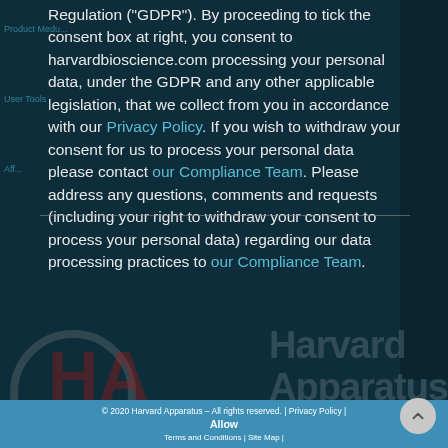Regulation ("GDPR"). By proceeding to tick the consent box at right, you consent to harvardbioscience.com processing your personal data, under the GDPR and any other applicable legislation, that we collect from you in accordance with our Privacy Policy. If you wish to withdraw your consent for us to process your personal data please contact our Compliance Team. Please address any questions, comments and requests (including your right to withdraw your consent to process your personal data) regarding our data processing practices to our Compliance Team.
© 2020 Harvard Apparatus – All rights reserved. | Privacy Policy | Allow | Terms and Conditions | Site Map |